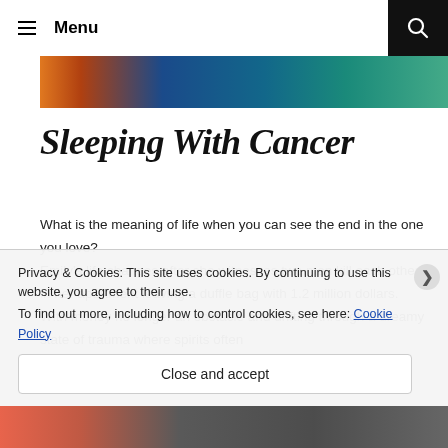Menu
[Figure (photo): Cropped colorful hero image strip with blue, orange, and teal tones]
Sleeping With Cancer
What is the meaning of life when you can see the end in the one you love?
Emily's life changes after she witnesses two men kill each other in her apartment leaving a duffle bag with 1.2 million dollars.   With money no longer an obstacle and drifting through a dreamy state of trauma where spirits often
Privacy & Cookies: This site uses cookies. By continuing to use this website, you agree to their use.
To find out more, including how to control cookies, see here: Cookie Policy
Close and accept